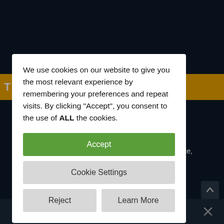[Figure (screenshot): Dark navy background webpage with yellow banner and white text. Cookie consent dialog overlaid on top. Bottom toolbar with navigation icons.]
We use cookies on our website to give you the most relevant experience by remembering your preferences and repeat visits. By clicking “Accept”, you consent to the use of ALL the cookies.
Accept
Cookie Settings
Reject
Learn More